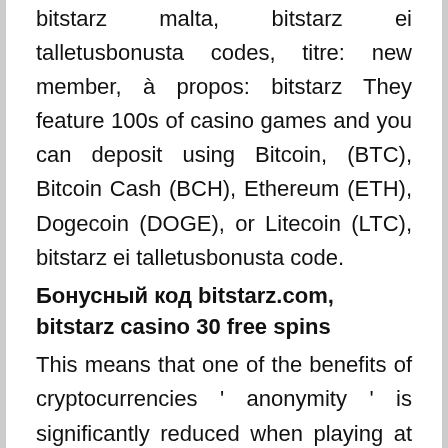bitstarz malta, bitstarz ei talletusbonusta codes, titre: new member, à propos: bitstarz They feature 100s of casino games and you can deposit using Bitcoin, (BTC), Bitcoin Cash (BCH), Ethereum (ETH), Dogecoin (DOGE), or Litecoin (LTC), bitstarz ei talletusbonusta code.
Бонусный код bitstarz.com, bitstarz casino 30 free spins
This means that one of the benefits of cryptocurrencies ' anonymity ' is significantly reduced when playing at UK crypto casinos, bitstarz ei talletusbonusta code. However, this anonymity is only really in demand in countries where gambling is illegal, and you need a